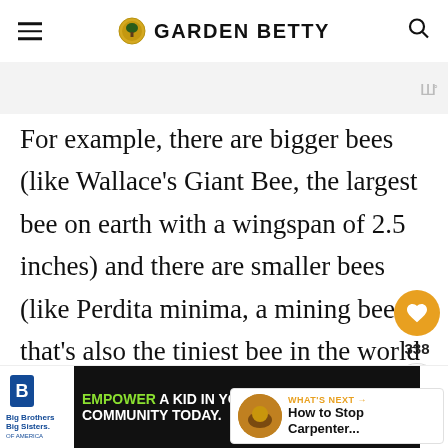GARDEN BETTY
For example, there are bigger bees (like Wallace's Giant Bee, the largest bee on earth with a wingspan of 2.5 inches) and there are smaller bees (like Perdita minima, a mining bee that's also the tiniest bee in the world at only 2mm long). Some bees are more brown or tan in co[lor], while others are jet black or even red. [Some] can be pretty hairy, while others have smooth, shi[ny bodies as well]